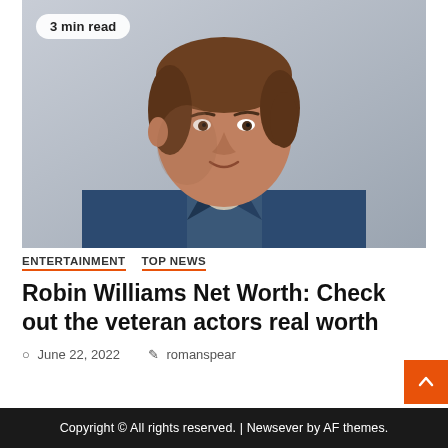[Figure (photo): Black and white / muted photo of a man (Robin Williams) with medium-length hair, wearing a blue denim jacket, leaning against a light-colored wall, looking slightly to the side with a subtle smile.]
3 min read
ENTERTAINMENT   TOP NEWS
Robin Williams Net Worth: Check out the veteran actors real worth
June 22, 2022   romanspear
Copyright © All rights reserved. | Newsever by AF themes.